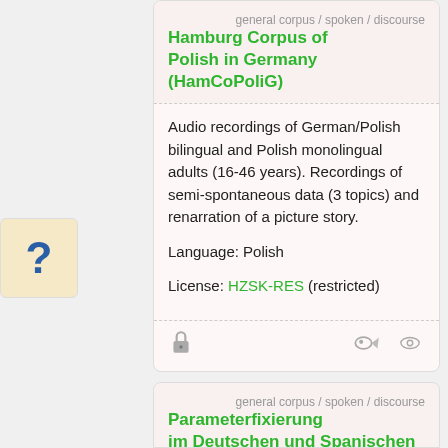Hamburg Corpus of Polish in Germany (HamCoPoliG)
general corpus / spoken / discourse
Audio recordings of German/Polish bilingual and Polish monolingual adults (16-46 years). Recordings of semi-spontaneous data (3 topics) and renarration of a picture story.
Language: Polish
License: HZSK-RES (restricted)
[Figure (other): Lock icon, fish icon, eye icon — access/visibility controls for the corpus entry]
Parameterfixierung im Deutschen und Spanischen (PAIDUS)
general corpus / spoken / discourse
Audio recordings of five German and five Spanish speaking monolingual children. For the German children there are about 30 recordings (interviewer/child interaction) per child, on an average starting at 9 months and ending at 3 years; for the Spanish children there are on average 15 recordings
[Figure (other): Question mark icon in beige box on left sidebar]